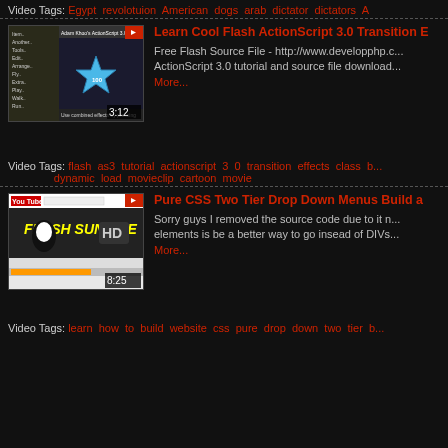Video Tags: Egypt revolotuion American dogs arab dictator dictators A...
[Figure (screenshot): Video thumbnail showing ActionScript 3.0 tutorial with a blue star on dark background, duration 3:12]
Learn Cool Flash ActionScript 3.0 Transition E...
Free Flash Source File - http://www.developphp.c... ActionScript 3.0 tutorial and source file download... More...
Video Tags: flash as3 tutorial actionscript 3 0 transition effects class b... dynamic load movieclip cartoon movie
[Figure (screenshot): Video thumbnail showing Pure CSS Drop Down Menus tutorial with HD logo, duration 8:25]
Pure CSS Two Tier Drop Down Menus Build a...
Sorry guys I removed the source code due to it n... elements is be a better way to go insead of DIVs... More...
Video Tags: learn how to build website css pure drop down two tier b...